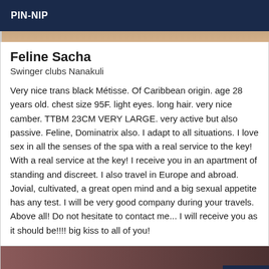PIN-NIP
Feline Sacha
Swinger clubs Nanakuli
Very nice trans black Métisse. Of Caribbean origin. age 28 years old. chest size 95F. light eyes. long hair. very nice camber. TTBM 23CM VERY LARGE. very active but also passive. Feline, Dominatrix also. I adapt to all situations. I love sex in all the senses of the spa with a real service to the key! With a real service at the key! I receive you in an apartment of standing and discreet. I also travel in Europe and abroad. Jovial, cultivated, a great open mind and a big sexual appetite has any test. I will be very good company during your travels. Above all! Do not hesitate to contact me... I will receive you as it should be!!!! big kiss to all of you!
Online